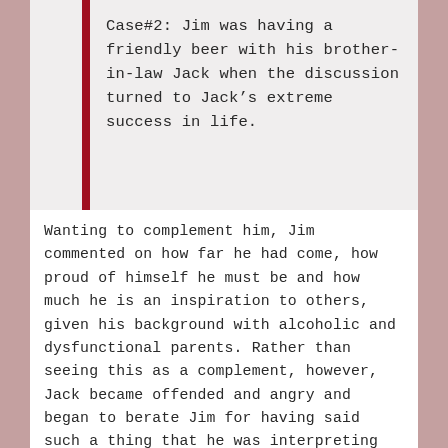Case#2: Jim was having a friendly beer with his brother-in-law Jack when the discussion turned to Jack’s extreme success in life.
Wanting to complement him, Jim commented on how far he had come, how proud of himself he must be and how much he is an inspiration to others, given his background with alcoholic and dysfunctional parents. Rather than seeing this as a complement, however, Jack became offended and angry and began to berate Jim for having said such a thing that he was interpreting as a “put down.”